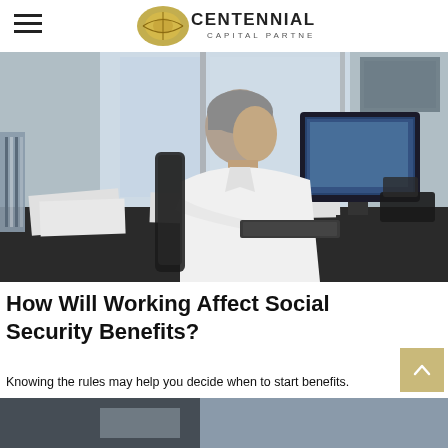Centennial Capital Partners
[Figure (photo): Man in white shirt sitting at a cluttered office desk, working at a computer monitor, viewed from behind/side]
How Will Working Affect Social Security Benefits?
Knowing the rules may help you decide when to start benefits.
[Figure (photo): Partial view of a second photo at the bottom of the page]